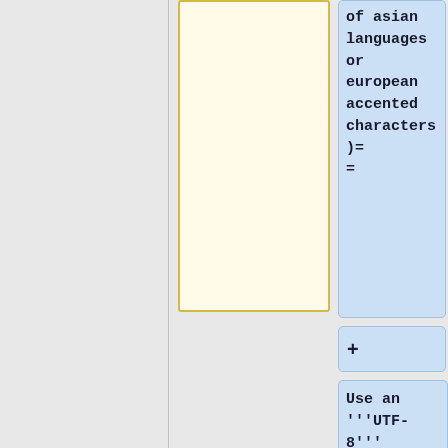of asian languages or european accented characters)==
+
Use an '''UTF-8''' capable editor (notepad, notepad++, jEdit ...) to do the translation and save a '''UTF-8''' text file eg. as